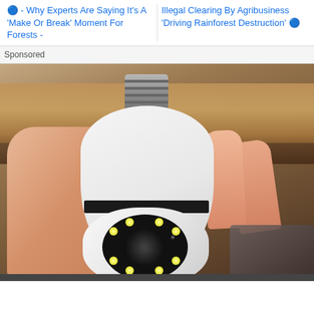🔵 - Why Experts Are Saying It's A 'Make Or Break' Moment For Forests -
Illegal Clearing By Agribusiness 'Driving Rainforest Destruction' 🔵
Sponsored
[Figure (photo): A hand holding a white light-bulb shaped security camera with an E27 screw base at top (metallic silver), white dome body, and a front-facing camera module with multiple LED lights arranged around a central lens. Background shows wooden shelf and dark interior.]